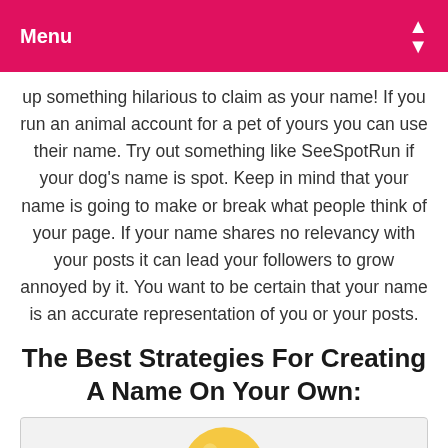Menu
up something hilarious to claim as your name! If you run an animal account for a pet of yours you can use their name. Try out something like SeeSpotRun if your dog's name is spot. Keep in mind that your name is going to make or break what people think of your page. If your name shares no relevancy with your posts it can lead your followers to grow annoyed by it. You want to be certain that your name is an accurate representation of you or your posts.
The Best Strategies For Creating A Name On Your Own:
[Figure (illustration): A lightbulb illustration with yellow bulb and teal base/filament details on a light gray background]